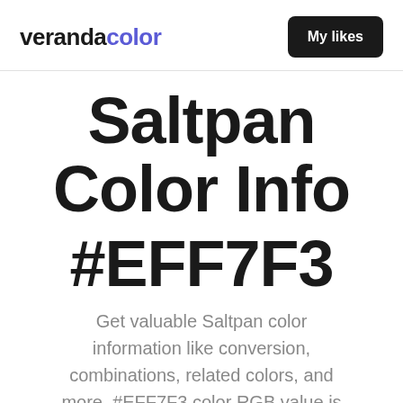verandacolor  My likes
Saltpan Color Info #EFF7F3
Get valuable Saltpan color information like conversion, combinations, related colors, and more. #EFF7F3 color RGB value is (239, 247, 243). Cylindrical-coordinate